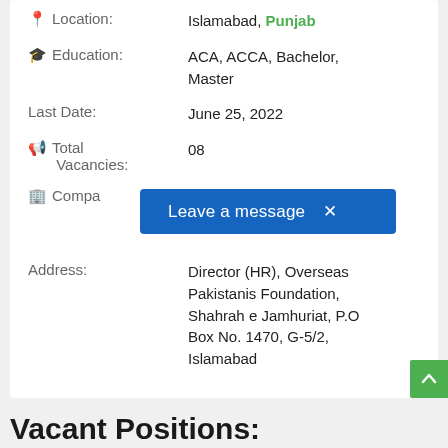Location: Islamabad, Punjab
Education: ACA, ACCA, Bachelor, Master
Last Date: June 25, 2022
Total Vacancies: 08
Company: [partially obscured] Pakistanis Foundation (OPF)
[Figure (other): Blue popup overlay with text 'Leave a message' and an X close button]
Address: Director (HR), Overseas Pakistanis Foundation, Shahrah e Jamhuriat, P.O Box No. 1470, G-5/2, Islamabad
Vacant Positions: